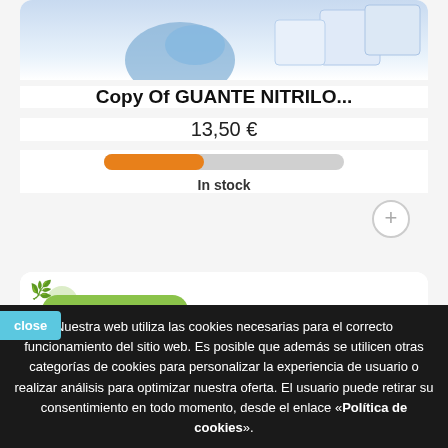[Figure (screenshot): Product card showing nitrile glove product image at top, partially cropped]
Copy Of GUANTE NITRILO...
13,50 €
[Figure (infographic): Stock level bar — orange and grey pill-shaped progress bar indicating partial stock]
In stock
[Figure (screenshot): Second product card partially visible with a green leaf icon]
Fuera de stock
Nuestra web utiliza las cookies necesarias para el correcto funcionamiento del sitio web. Es posible que además se utilicen otras categorías de cookies para personalizar la experiencia de usuario o realizar análisis para optimizar nuestra oferta. El usuario puede retirar su consentimiento en todo momento, desde el enlace «Política de cookies».
close